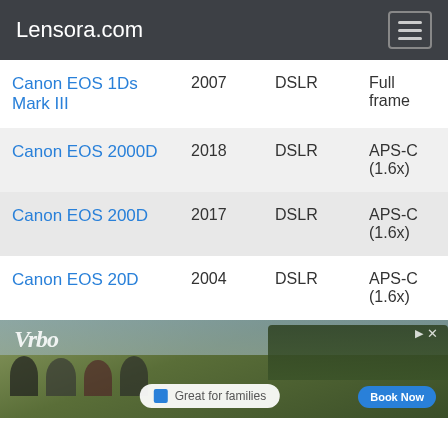Lensora.com
| Camera | Year | Type | Sensor |
| --- | --- | --- | --- |
| Canon EOS 1Ds Mark III | 2007 | DSLR | Full frame |
| Canon EOS 2000D | 2018 | DSLR | APS-C (1.6x) |
| Canon EOS 200D | 2017 | DSLR | APS-C (1.6x) |
| Canon EOS 20D | 2004 | DSLR | APS-C (1.6x) |
[Figure (photo): Vrbo advertisement banner showing cyclists on a trail with text 'Great for families' and a 'Book Now' button]